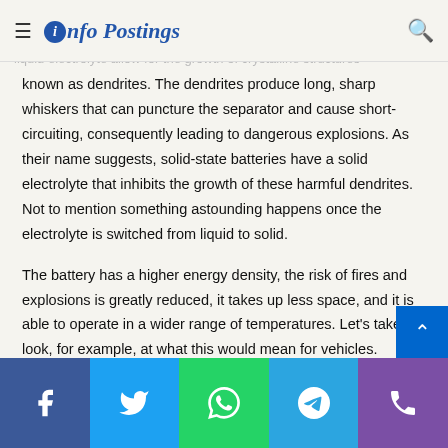Info Postings
electrolyte. Current lithium-ion batteries have a liquid electrolyte. Certain lithium-ion batteries have strain compounds present in the liquid electrolyte allow for the growth of crystalline structures known as dendrites. The dendrites produce long, sharp whiskers that can puncture the separator and cause short-circuiting, consequently leading to dangerous explosions. As their name suggests, solid-state batteries have a solid electrolyte that inhibits the growth of these harmful dendrites. Not to mention something astounding happens once the electrolyte is switched from liquid to solid.
The battery has a higher energy density, the risk of fires and explosions is greatly reduced, it takes up less space, and it is able to operate in a wider range of temperatures. Let's take a look, for example, at what this would mean for vehicles.
Facebook Twitter WhatsApp Telegram Phone